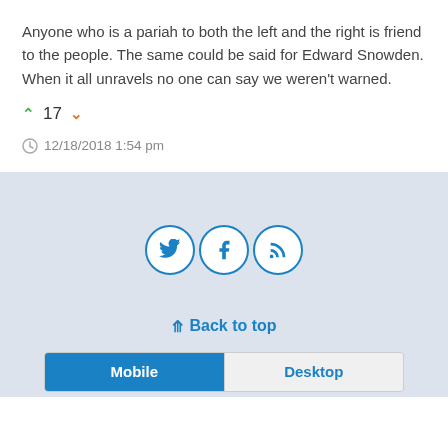Anyone who is a pariah to both the left and the right is friend to the people. The same could be said for Edward Snowden. When it all unravels no one can say we weren't warned.
▲ 17 ▼
🕐 12/18/2018 1:54 pm
[Figure (other): Three social media icon buttons in circles: Twitter bird, Facebook f, RSS feed icon]
« Back to top
Mobile | Desktop